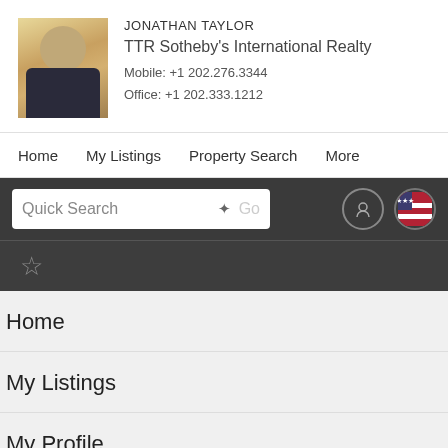[Figure (photo): Headshot photo of Jonathan Taylor, a man in a dark suit with a light blue tie, against a floral background]
JONATHAN TAYLOR
TTR Sotheby's International Realty
Mobile: +1 202.276.3344
Office: +1 202.333.1212
Home    My Listings    Property Search    More
Quick Search  Go
Home
My Listings
My Profile